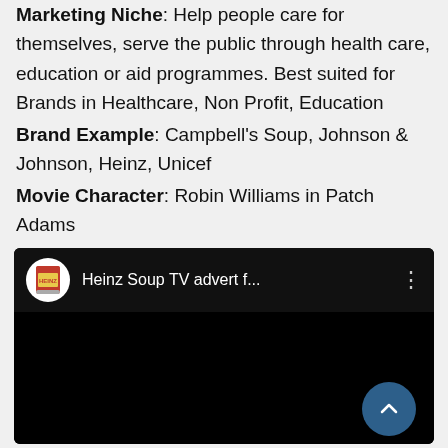Marketing Niche: Help people care for themselves, serve the public through health care, education or aid programmes. Best suited for Brands in Healthcare, Non Profit, Education
Brand Example: Campbell's Soup, Johnson & Johnson, Heinz, Unicef
Movie Character: Robin Williams in Patch Adams
[Figure (screenshot): YouTube video embed showing 'Heinz Soup TV advert f...' with Heinz soup can channel icon and a blue upward arrow button on a black background.]